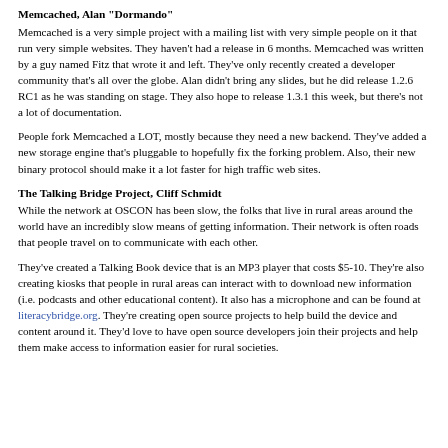Memcached, Alan "Dormando"
Memcached is a very simple project with a mailing list with very simple people on it that run very simple websites. They haven't had a release in 6 months. Memcached was written by a guy named Fitz that wrote it and left. They've only recently created a developer community that's all over the globe. Alan didn't bring any slides, but he did release 1.2.6 RC1 as he was standing on stage. They also hope to release 1.3.1 this week, but there's not a lot of documentation.
People fork Memcached a LOT, mostly because they need a new backend. They've added a new storage engine that's pluggable to hopefully fix the forking problem. Also, their new binary protocol should make it a lot faster for high traffic web sites.
The Talking Bridge Project, Cliff Schmidt
While the network at OSCON has been slow, the folks that live in rural areas around the world have an incredibly slow means of getting information. Their network is often roads that people travel on to communicate with each other.
They've created a Talking Book device that is an MP3 player that costs $5-10. They're also creating kiosks that people in rural areas can interact with to download new information (i.e. podcasts and other educational content). It also has a microphone and can be found at literacybridge.org. They're creating open source projects to help build the device and content around it. They'd love to have open source developers join their projects and help them make access to information easier for rural societies.